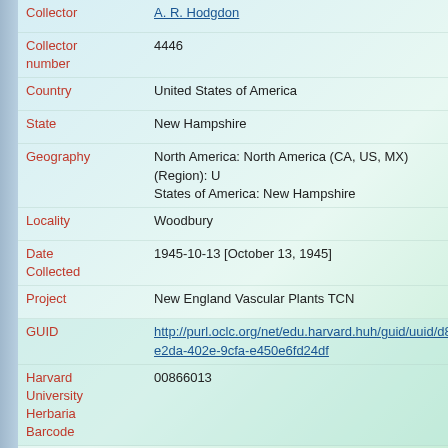| Field | Value |
| --- | --- |
| Collector | A. R. Hodgdon |
| Collector number | 4446 |
| Country | United States of America |
| State | New Hampshire |
| Geography | North America: North America (CA, US, MX) (Region): United States of America: New Hampshire |
| Locality | Woodbury |
| Date Collected | 1945-10-13 [October 13, 1945] |
| Project | New England Vascular Plants TCN |
| GUID | http://purl.oclc.org/net/edu.harvard.huh/guid/uuid/d8c...e2da-402e-9cfa-e450e6fd24df |
| Harvard University Herbaria Barcode | 00866013 |
| Herbarium | NEBC |
| Family | Urticaceae |
| Determination | Urtica dioica subsp. gracilis (Aiton) Solander |
| Determination Remarks | [is filed under name] [is Current name] |